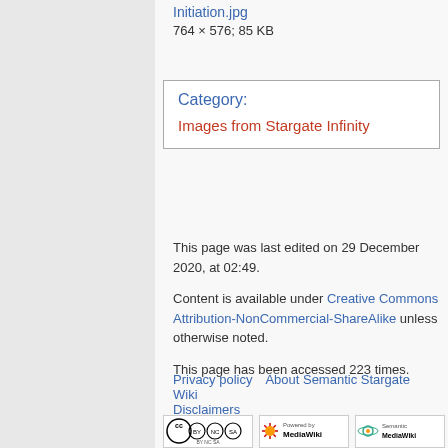Initiation.jpg
764 × 576; 85 KB
Category: Images from Stargate Infinity
This page was last edited on 29 December 2020, at 02:49.
Content is available under Creative Commons Attribution-NonCommercial-ShareAlike unless otherwise noted.
This page has been accessed 223 times.
Privacy policy
About Semantic Stargate Wiki
Disclaimers
[Figure (logo): Creative Commons BY-NC-SA license badge]
[Figure (logo): Powered by MediaWiki badge]
[Figure (logo): Semantic MediaWiki badge]